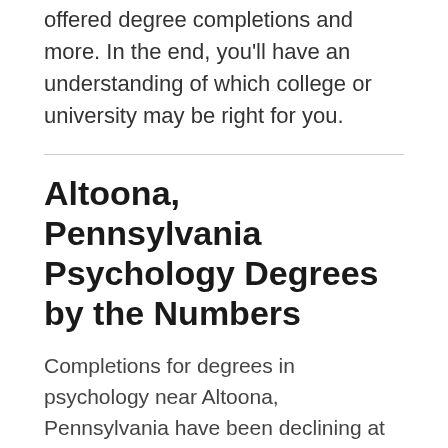offered degree completions and more. In the end, you'll have an understanding of which college or university may be right for you.
Altoona, Pennsylvania Psychology Degrees by the Numbers
Completions for degrees in psychology near Altoona, Pennsylvania have been declining at institutions over the past 5 years. In 2020, students completed 17 psychology-related degree programs that were offered by colleges and universities near Altoona. That represents a decrease of 51% from completions